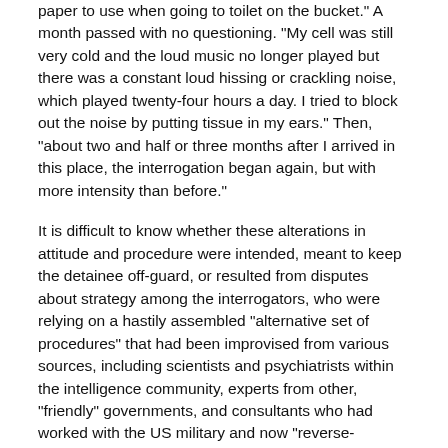paper to use when going to toilet on the bucket." A month passed with no questioning. "My cell was still very cold and the loud music no longer played but there was a constant loud hissing or crackling noise, which played twenty-four hours a day. I tried to block out the noise by putting tissue in my ears." Then, "about two and half or three months after I arrived in this place, the interrogation began again, but with more intensity than before."
It is difficult to know whether these alterations in attitude and procedure were intended, meant to keep the detainee off-guard, or resulted from disputes about strategy among the interrogators, who were relying on a hastily assembled "alternative set of procedures" that had been improvised from various sources, including scientists and psychiatrists within the intelligence community, experts from other, "friendly" governments, and consultants who had worked with the US military and now "reverse-engineered" the resistance training taught to American elite forces to help them withstand